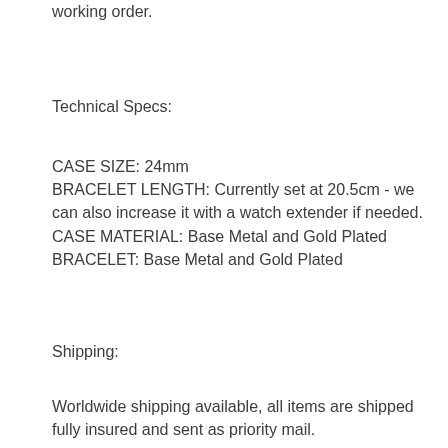working order.
Technical Specs:
CASE SIZE: 24mm
BRACELET LENGTH: Currently set at 20.5cm - we can also increase it with a watch extender if needed.
CASE MATERIAL: Base Metal and Gold Plated
BRACELET: Base Metal and Gold Plated
Shipping:
Worldwide shipping available, all items are shipped fully insured and sent as priority mail.